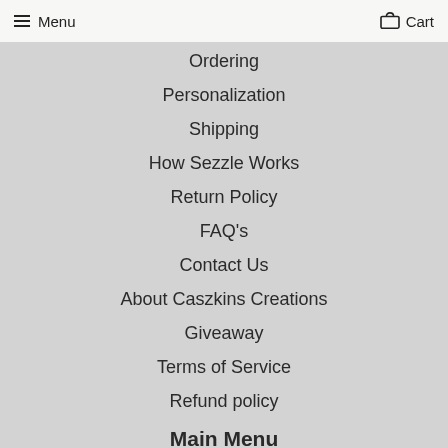Menu  Cart
Ordering
Personalization
Shipping
How Sezzle Works
Return Policy
FAQ's
Contact Us
About Caszkins Creations
Giveaway
Terms of Service
Refund policy
Main Menu
Home page